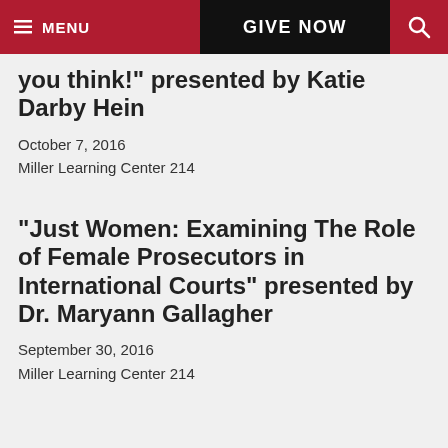MENU | GIVE NOW | [search]
you think!" presented by Katie Darby Hein
October 7, 2016
Miller Learning Center 214
"Just Women: Examining The Role of Female Prosecutors in International Courts" presented by Dr. Maryann Gallagher
September 30, 2016
Miller Learning Center 214